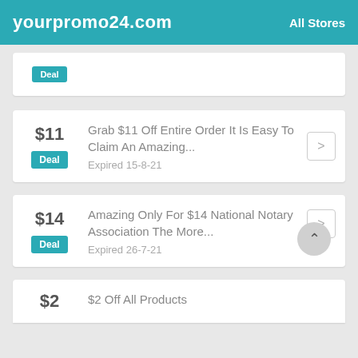yourpromo24.com   All Stores
$11  Deal  Grab $11 Off Entire Order It Is Easy To Claim An Amazing...  Expired 15-8-21
$14  Deal  Amazing Only For $14 National Notary Association The More...  Expired 26-7-21
$2  $2 Off All Products